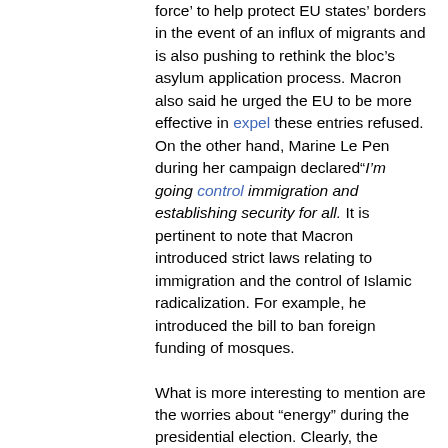force' to help protect EU states' borders in the event of an influx of migrants and is also pushing to rethink the bloc's asylum application process. Macron also said he urged the EU to be more effective in expel these entries refused. On the other hand, Marine Le Pen during her campaign declared"I'm going control immigration and establishing security for all. It is pertinent to note that Macron introduced strict laws relating to immigration and the control of Islamic radicalization. For example, he introduced the bill to ban foreign funding of mosques.
What is more interesting to mention are the worries about "energy" during the presidential election. Clearly, the ongoing conflict in Ukraine has drawn more attention to the economic and geopolitical consequences of existing national and European energy supply chain choices. In France in particular, there is a significant split between the pro and anti-nuclear fractions. Interestingly, France has the second largest number of nuclear power plants in the world after the United States. Moreover, during the last week of the elections, Macron tried to win